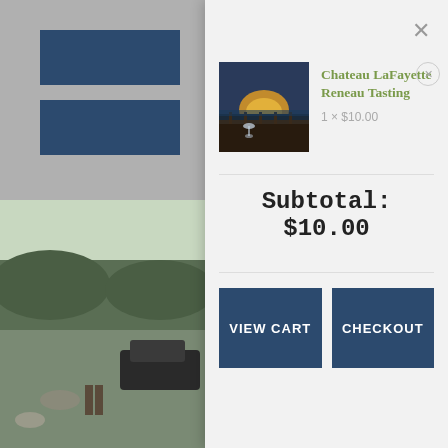[Figure (screenshot): Website shopping cart modal overlay on top of a winery website background. Left side shows partially visible navigation with blue blocks and a landscape photo. Right side shows a cart modal with a product, subtotal, and action buttons.]
×
Chateau LaFayette Reneau Tasting
1 × $10.00
Subtotal: $10.00
VIEW CART
CHECKOUT